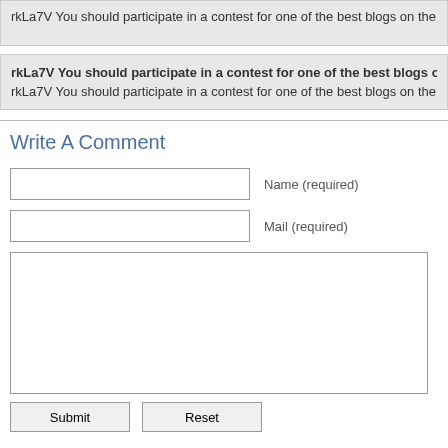rkLa7V You should participate in a contest for one of the best blogs on the
rkLa7V You should participate in a contest for one of the best blogs o site! Wrote
rkLa7V You should participate in a contest for one of the best blogs on the
Write A Comment
Name (required)
Mail (required)